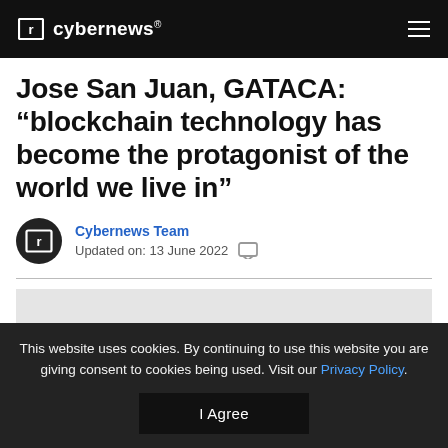cybernews®
Jose San Juan, GATACA: “blockchain technology has become the protagonist of the world we live in”
Cybernews Team
Updated on: 13 June 2022
[Figure (photo): Gray image placeholder rectangle]
This website uses cookies. By continuing to use this website you are giving consent to cookies being used. Visit our Privacy Policy.
I Agree